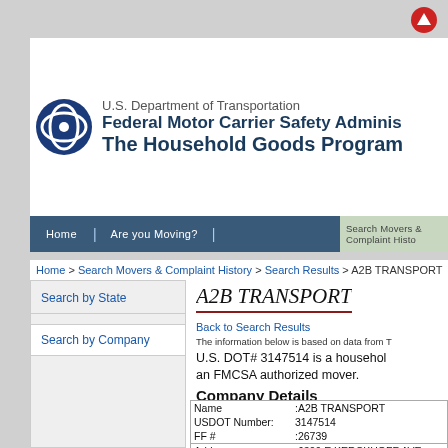U.S. Department of Transportation Federal Motor Carrier Safety Administration The Household Goods Program
Home | Are you Moving? | Search Movers & Complaint History
Home > Search Movers & Complaint History > Search Results > A2B TRANSPORT
A2B TRANSPORT
Back to Search Results
The information below is based on data from T
U.S. DOT# 3147514 is a household goods mover and is an FMCSA authorized mover.
Company Details
Search by State
Search by Company
| Field | Value |
| --- | --- |
| Name | :A2B TRANSPORT |
| USDOT Number: | 3147514 |
| FF # | :26739 |
| Address | :6309 E KERCKHOFF AVE FRESNO, CA 93727 |
| Mailing Address | :6309 E KERCKHOFF AVE |